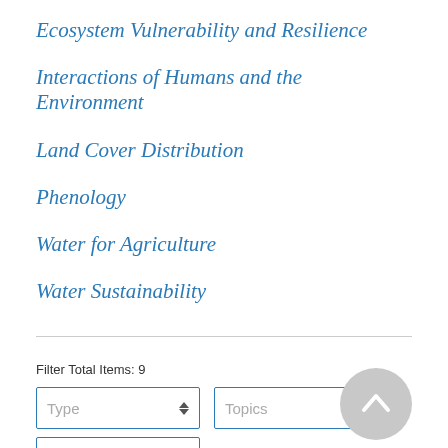Ecosystem Vulnerability and Resilience
Interactions of Humans and the Environment
Land Cover Distribution
Phenology
Water for Agriculture
Water Sustainability
Filter Total Items: 9